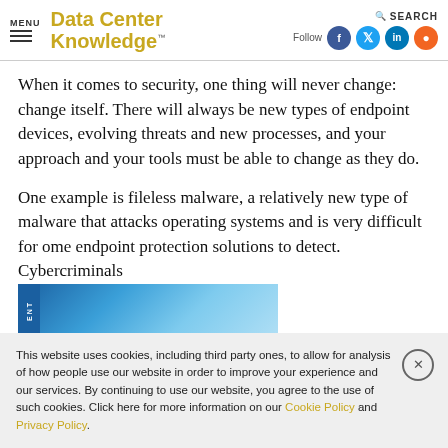MENU | Data Center Knowledge | Follow | SEARCH
When it comes to security, one thing will never change: change itself. There will always be new types of endpoint devices, evolving threats and new processes, and your approach and your tools must be able to change as they do.
One example is fileless malware, a relatively new type of malware that attacks operating systems and is very difficult for some endpoint protection solutions to detect. Cybercriminals
[Figure (photo): Partial image of a device with blue tones, partially visible]
This website uses cookies, including third party ones, to allow for analysis of how people use our website in order to improve your experience and our services. By continuing to use our website, you agree to the use of such cookies. Click here for more information on our Cookie Policy and Privacy Policy.